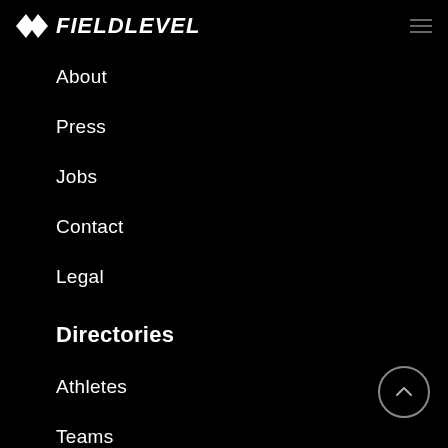FIELDLEVEL
About
Press
Jobs
Contact
Legal
Directories
Athletes
Teams
Account
Log In